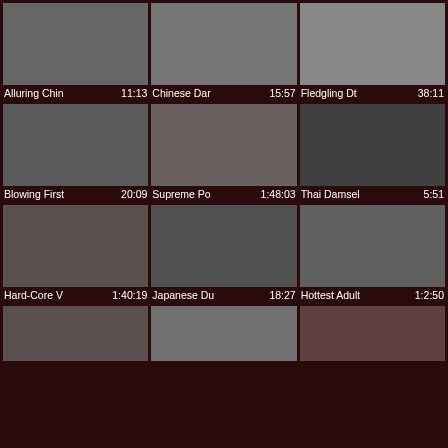[Figure (screenshot): Grid of video thumbnails with titles and durations. Row 1: Alluring Chin 11:13, Chinese Dar 15:57, Fledgling Dt 38:11. Row 2: Blowing First 20:09, Supreme Po 1:48:03, Thai Damsel 5:51. Row 3: Hard-Core V 1:40:19, Japanese Du 18:27, Hottest Adult 1:2:50. Row 4: Three partial thumbnails.]